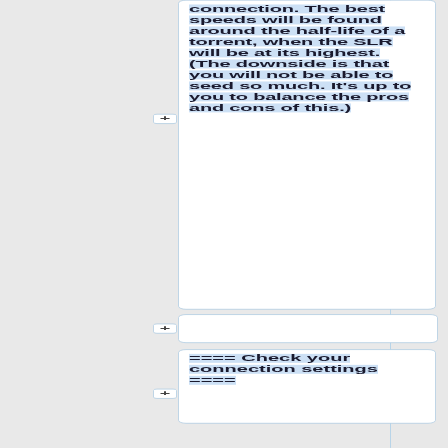connection. The best speeds will be found around the half-life of a torrent, when the SLR will be at its highest. (The downside is that you will not be able to seed so much. It's up to you to balance the pros and cons of this.)
==== Check your connection settings ====